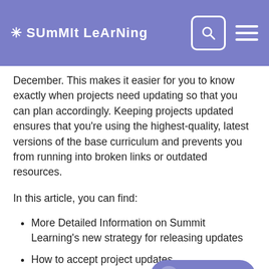[Figure (logo): Summit Learning logo with white asterisk and stylized text on purple/blue background, with search icon and hamburger menu on right]
December. This makes it easier for you to know exactly when projects need updating so that you can plan accordingly. Keeping projects updated ensures that you're using the highest-quality, latest versions of the base curriculum and prevents you from running into broken links or outdated resources.
In this article, you can find:
More Detailed Information on Summit Learning's new strategy for releasing updates
How to accept project updates
For information on why we recommend click here.